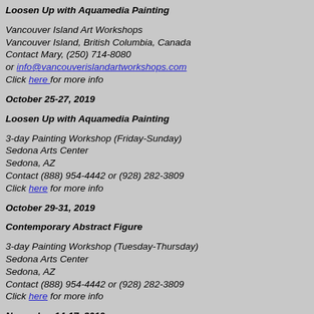Loosen Up with Aquamedia Painting
Vancouver Island Art Workshops
Vancouver Island, British Columbia, Canada
Contact Mary, (250) 714-8080
or info@vancouverislandartworkshops.com
Click here for more info
October 25-27, 2019
Loosen Up with Aquamedia Painting
3-day Painting Workshop (Friday-Sunday)
Sedona Arts Center
Sedona, AZ
Contact (888) 954-4442 or (928) 282-3809
Click here for more info
October 29-31, 2019
Contemporary Abstract Figure
3-day Painting Workshop (Tuesday-Thursday)
Sedona Arts Center
Sedona, AZ
Contact (888) 954-4442 or (928) 282-3809
Click here for more info
November 14-17, 2019
Art of the Carolinas - Workshops & Art Materials Exhibition
Sponsored by Jerry's Artarama
Raleigh, North Carolina
Contact Sharon DiGiulio (800) 827-8478 ext 156 sharon@jerrysa
click here for more info